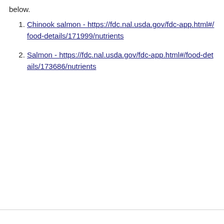below.
Chinook salmon - https://fdc.nal.usda.gov/fdc-app.html#/food-details/171999/nutrients
Salmon - https://fdc.nal.usda.gov/fdc-app.html#/food-details/173686/nutrients